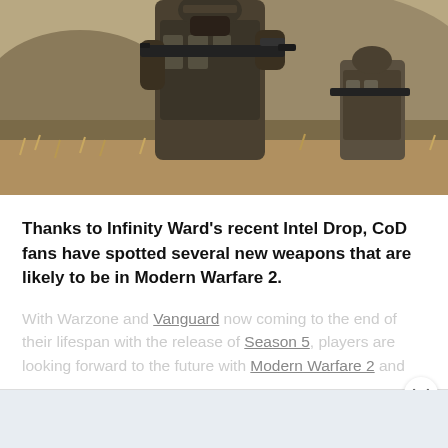[Figure (photo): Two soldiers in military gear and tactical equipment moving through dry grassland terrain with rocky hills in the background. Scene from a Call of Duty: Modern Warfare 2 promotional image.]
Thanks to Infinity Ward's recent Intel Drop, CoD fans have spotted several new weapons that are likely to be in Modern Warfare 2.
With Warzone and Vanguard now coming to the end of their lifespan with the release of Season 5, players are looking forward to the future with Modern Warfare 2 and
CONTINUE READING